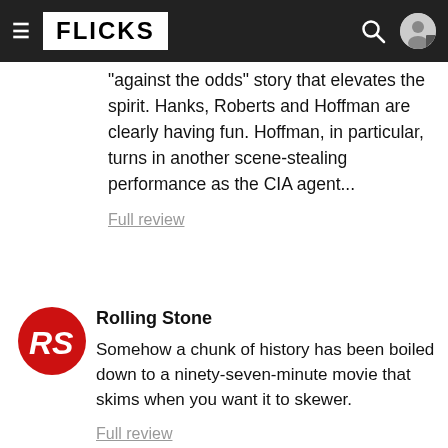FLICKS
"against the odds" story that elevates the spirit. Hanks, Roberts and Hoffman are clearly having fun. Hoffman, in particular, turns in another scene-stealing performance as the CIA agent...
Full review
[Figure (logo): Rolling Stone magazine logo — red circle with RS initials in white]
Rolling Stone
Somehow a chunk of history has been boiled down to a ninety-seven-minute movie that skims when you want it to skewer.
Full review